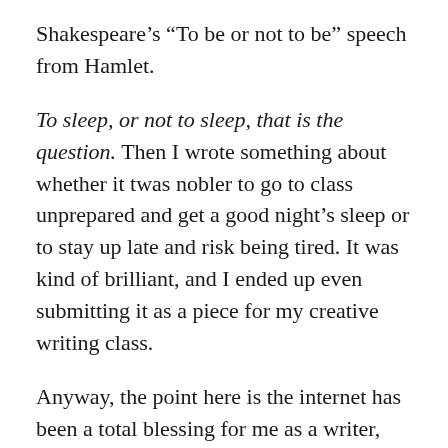Shakespeare's “To be or not to be” speech from Hamlet.
To sleep, or not to sleep, that is the question. Then I wrote something about whether it twas nobler to go to class unprepared and get a good night’s sleep or to stay up late and risk being tired. It was kind of brilliant, and I ended up even submitting it as a piece for my creative writing class.
Anyway, the point here is the internet has been a total blessing for me as a writer, but it has one major drawback versus traditional publishing.